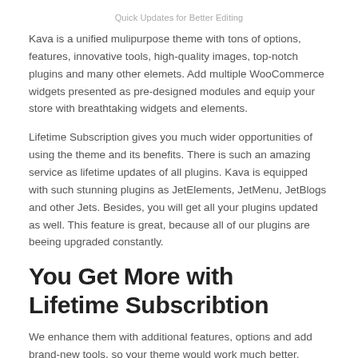Quick Updates for Better Editing
Kava is a unified mulipurpose theme with tons of options, features, innovative tools, high-quality images, top-notch plugins and many other elemets. Add multiple WooCommerce widgets presented as pre-designed modules and equip your store with breathtaking widgets and elements.
Lifetime Subscription gives you much wider opportunities of using the theme and its benefits. There is such an amazing service as lifetime updates of all plugins. Kava is equipped with such stunning plugins as JetElements, JetMenu, JetBlogs and other Jets. Besides, you will get all your plugins updated as well. This feature is great, because all of our plugins are beeing upgraded constantly.
You Get More with Lifetime Subscribtion
We enhance them with additional features, options and add brand-new tools, so your theme would work much better. Another benefit